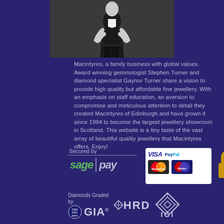[Figure (photo): Black and white photo of a person in business attire standing with hands on hips]
Macintyres, a family business with global values. Award winning gemmologist Stephen Turner and diamond specialist Gaynor Turner share a vision to provide high quality but affordable fine jewellery. With an emphasis on staff education, an aversion to compromise and meticulous attention to detail they created Macintyres of Edinburgh and have grown it since 1994 to become the largest jewellery showroom in Scotland. This website is a tiny taste of the vast array of beautiful quality jewellery that Macintyres offers. Enjoy!
[Figure (logo): Secured by SagePay logo with Visa, PayPal, MasterCard, Maestro card logos and security padlock icon]
[Figure (logo): Diamonds Graded by GIA logo, HRD logo, and IGI logo]